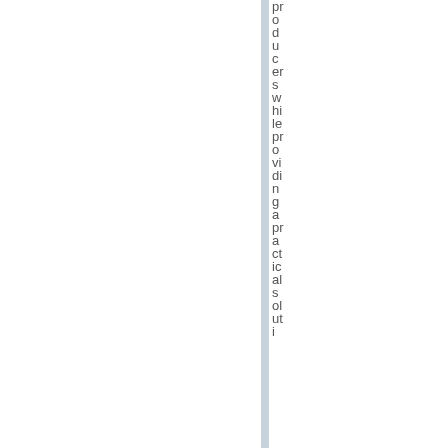producers while providing a practical solution